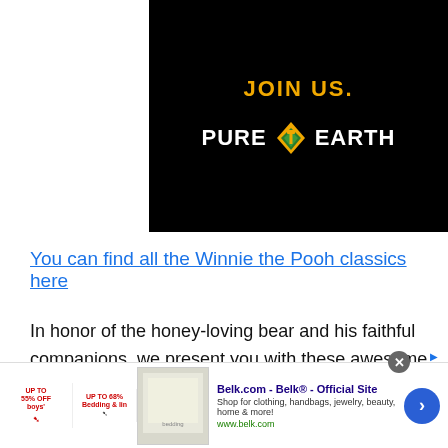[Figure (logo): Pure Earth organization advertisement banner on black background. 'JOIN US.' in gold bold text at top, followed by Pure Earth logo with diamond/shovel icon between the words PURE and EARTH in white bold text.]
You can find all the Winnie the Pooh classics here
In honor of the honey-loving bear and his faithful companions, we present you with these awesome and fun Winnie the Pooh Quotes!
Winnie the Pooh Quotes
[Figure (screenshot): Belk.com advertisement banner at bottom. Shows 'Belk.com - Belk® - Official Site' in bold blue, 'Shop for clothing, handbags, jewelry, beauty, home & more!' and 'www.belk.com' in green. Left side shows two small promo badges and a product image. Right side has a blue circular arrow button.]